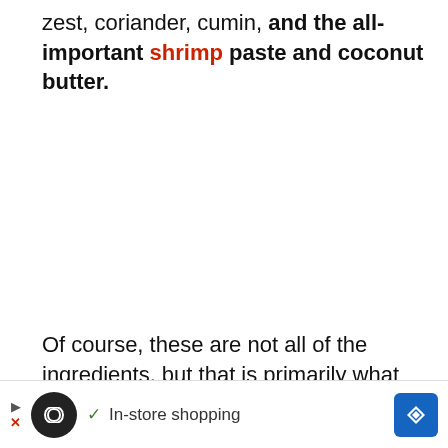zest, coriander, cumin, and the all-important shrimp paste and coconut butter.
Of course, these are not all of the ingredients, but that is primarily what gives it that wonderful array of flavors from the creaminess of the coconut to the slight
[Figure (other): Advertisement bar at the bottom of the page showing a circular black icon with an infinity/loop symbol, play and close (X) buttons, a checkmark with 'In-store shopping' text, and a blue diamond navigation icon.]